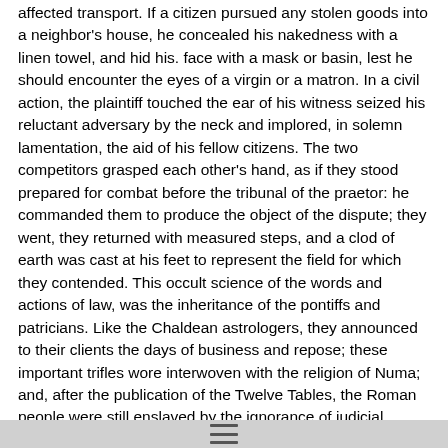affected transport. If a citizen pursued any stolen goods into a neighbor's house, he concealed his nakedness with a linen towel, and hid his. face with a mask or basin, lest he should encounter the eyes of a virgin or a matron. In a civil action, the plaintiff touched the ear of his witness seized his reluctant adversary by the neck and implored, in solemn lamentation, the aid of his fellow citizens. The two competitors grasped each other's hand, as if they stood prepared for combat before the tribunal of the praetor: he commanded them to produce the object of the dispute; they went, they returned with measured steps, and a clod of earth was cast at his feet to represent the field for which they contended. This occult science of the words and actions of law, was the inheritance of the pontiffs and patricians. Like the Chaldean astrologers, they announced to their clients the days of business and repose; these important trifles wore interwoven with the religion of Numa; and, after the publication of the Twelve Tables, the Roman people were still enslaved by the ignorance of judicial proceedings. The treachery of some plebeian officers at length revealed the profitable mystery: in a more enlightened age, the legal actions were derided and observed; and the same antiquity which sanctified the practice, obliterated the use and meaning, of this primitive language."
SIGN, measures. In angular measure, a sign is equal to thirty degrees.